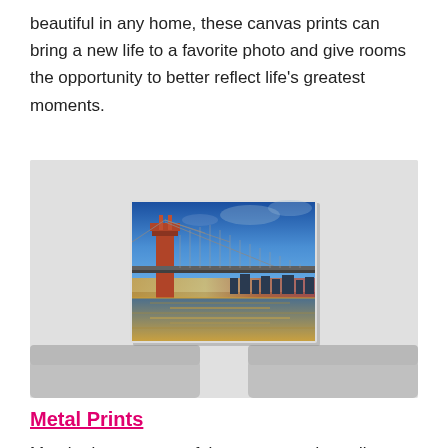beautiful in any home, these canvas prints can bring a new life to a favorite photo and give rooms the opportunity to better reflect life's greatest moments.
[Figure (photo): A suspension bridge (Ben Franklin Bridge) at dusk with city skyline reflected on water, displayed as a canvas print mounted on a wall above a sofa.]
Metal Prints
Metal prints are one of the newest and trendiest